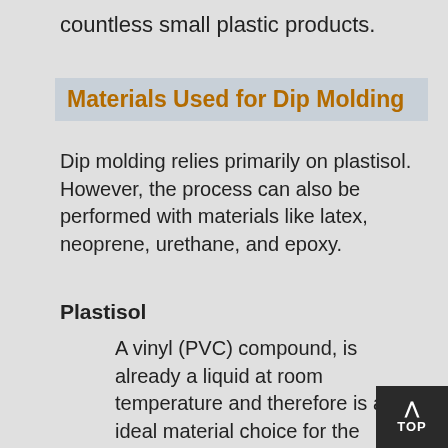countless small plastic products.
Materials Used for Dip Molding
Dip molding relies primarily on plastisol. However, the process can also be performed with materials like latex, neoprene, urethane, and epoxy.
Plastisol
A vinyl (PVC) compound, is already a liquid at room temperature and therefore is an ideal material choice for the process of dip molding as it requires even less energy to undergo manufacturing. Plastisol also hardens permanently once heated, which makes plastisol dip molding, also known as